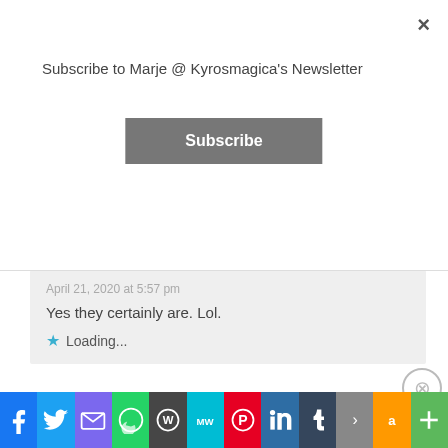Subscribe to Marje @ Kyrosmagica's Newsletter
Subscribe
April 21, 2020 at 5:57 pm
Yes they certainly are. Lol.
Loading...
Leave a Reply
Advertisements
Turn your blog into a ...